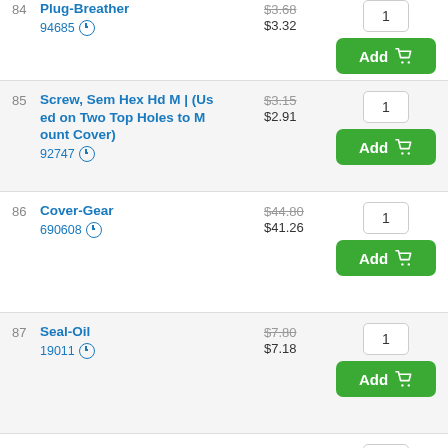84 Plug-Breather 94685 $3.68 / $3.32 qty:1 Add
85 Screw, Sem Hex Hd M | (Used on Two Top Holes to Mount Cover) 92747 $3.15 / $2.91 qty:1 Add
86 Cover-Gear 690608 $44.80 / $41.26 qty:1 Add
87 Seal-Oil 19011 $7.80 / $7.18 qty:1 Add
88 Gasket-Gear Case Cover 27313 $6.70 / $6.17 qty:1 Add